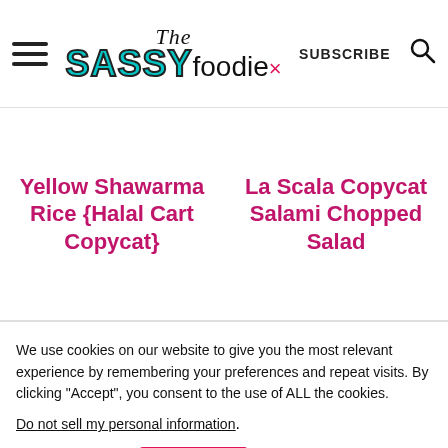The SASSY foodie × SUBSCRIBE 🔍
Yellow Shawarma Rice {Halal Cart Copycat}
La Scala Copycat Salami Chopped Salad
We use cookies on our website to give you the most relevant experience by remembering your preferences and repeat visits. By clicking "Accept", you consent to the use of ALL the cookies.
Do not sell my personal information.
Cookie settings
Accept